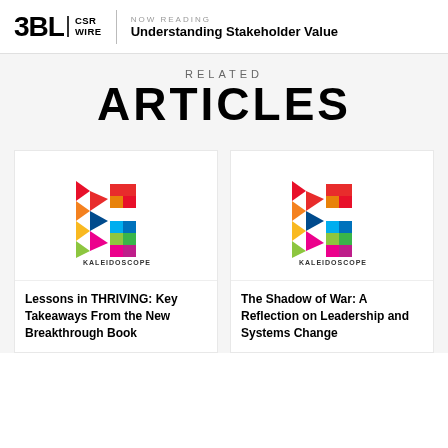3BL CSR WIRE | NOW READING Understanding Stakeholder Value
RELATED ARTICLES
[Figure (logo): Kaleidoscope Futures colorful K logo]
Lessons in THRIVING: Key Takeaways From the New Breakthrough Book
[Figure (logo): Kaleidoscope Futures colorful K logo]
The Shadow of War: A Reflection on Leadership and Systems Change